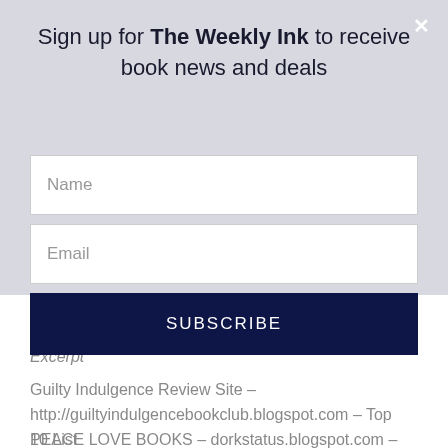Sign up for The Weekly Ink to receive book news and deals
[Figure (screenshot): Newsletter signup form with Name field, Email field, and SUBSCRIBE button on grey overlay background with close X button]
Excerpt
Guilty Indulgence Review Site – http://guiltyindulgencebookclub.blogspot.com – Top 10 List
PEACE LOVE BOOKS – dorkstatus.blogspot.com – Excerpt
Novel Seduction – http://novelseduction.blogspot.com – REVIEW STOP